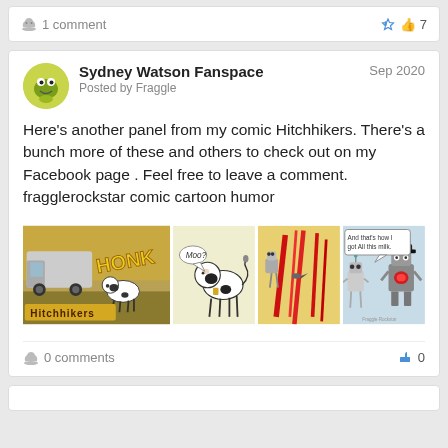1 comment
7
Sydney Watson Fanspace
Posted by Fraggle
Sep 2020
Here's another panel from my comic Hitchhikers. There's a bunch more of these and others to check out on my Facebook page . Feel free to leave a comment. fragglerockstar comic cartoon humor
[Figure (illustration): Comic strip with 4 panels: Panel 1 shows a truck and a cow with 'HONK' text and 'Hitchhikers' logo. Panel 2 shows a cow saying 'Moo?'. Panel 3 shows robot characters with red splatter. Panel 4 shows robot characters with speech bubble 'And that's how I got all this milk.']
0 comments
0